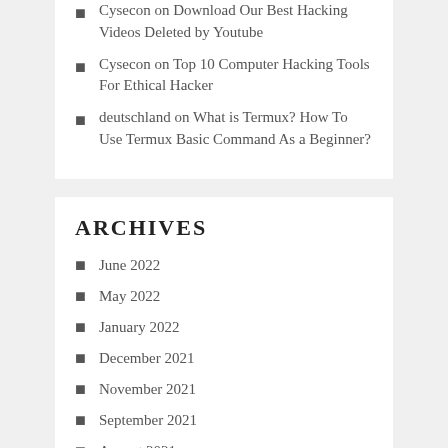Cysecon on Download Our Best Hacking Videos Deleted by Youtube
Cysecon on Top 10 Computer Hacking Tools For Ethical Hacker
deutschland on What is Termux? How To Use Termux Basic Command As a Beginner?
ARCHIVES
June 2022
May 2022
January 2022
December 2021
November 2021
September 2021
August 2021